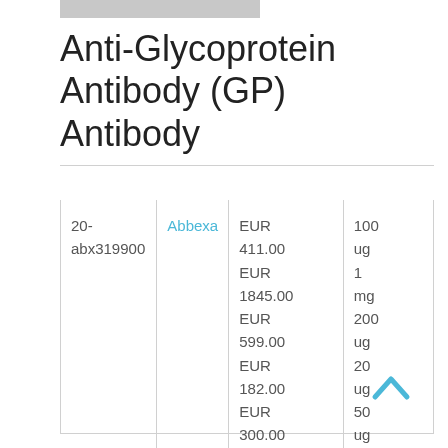Anti-Glycoprotein Antibody (GP) Antibody
|  |  |  |  |
| --- | --- | --- | --- |
| 20-abx319900 | Abbexa | EUR 411.00
EUR 1845.00
EUR 599.00
EUR 182.00
EUR 300.00 | 100 ug
1 mg
200 ug
20 ug
50 ug |